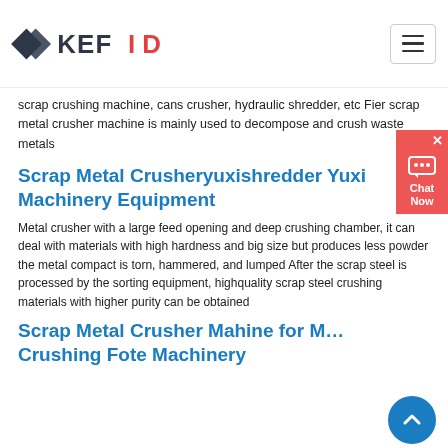[Figure (logo): KEFID logo with grey/dark diamond arrow shapes on left and bold text KEFID with red D on right]
scrap crushing machine, cans crusher, hydraulic shredder, etc Fier scrap metal crusher machine is mainly used to decompose and crush waste metals
Scrap Metal Crusheryuxishredder Yuxi Machinery Equipment
Metal crusher with a large feed opening and deep crushing chamber, it can deal with materials with high hardness and big size but produces less powder the metal compact is torn, hammered, and lumped After the scrap steel is processed by the sorting equipment, highquality scrap steel crushing materials with higher purity can be obtained
Scrap Metal Crusher Mahine for M… Crushing Fote Machinery